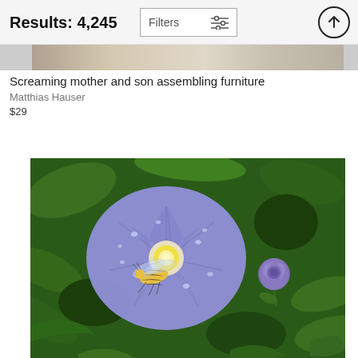Results: 4,245
Screaming mother and son assembling furniture
Matthias Hauser
$29
[Figure (photo): A hoverfly (yellow and black striped) sitting on a large blue/purple morning glory flower with water droplets on the petals, surrounded by green foliage. A smaller purple flower bud is visible to the right.]